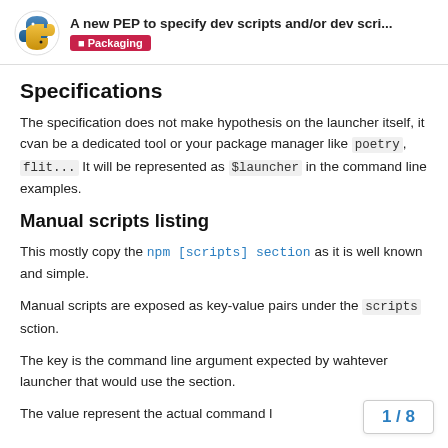A new PEP to specify dev scripts and/or dev scri... | Packaging
Specifications
The specification does not make hypothesis on the launcher itself, it cvan be a dedicated tool or your package manager like poetry, flit... It will be represented as $launcher in the command line examples.
Manual scripts listing
This mostly copy the npm [scripts] section as it is well known and simple.
Manual scripts are exposed as key-value pairs under the scripts sction.
The key is the command line argument expected by wahtever launcher that would use the section.
The value represent the actual command l
1 / 8